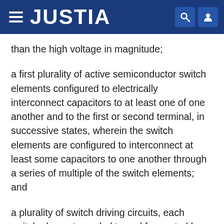JUSTIA
than the high voltage in magnitude;
a first plurality of active semiconductor switch elements configured to electrically interconnect capacitors to at least one of one another and to the first or second terminal, in successive states, wherein the switch elements are configured to interconnect at least some capacitors to one another through a series of multiple of the switch elements; and
a plurality of switch driving circuits, each switch element coupled to and for control by a drive output of one of the switch driving circuits, each driving circuit having a control input, power connections, and a drive output coupled to and for control of one or more of the switch elements;